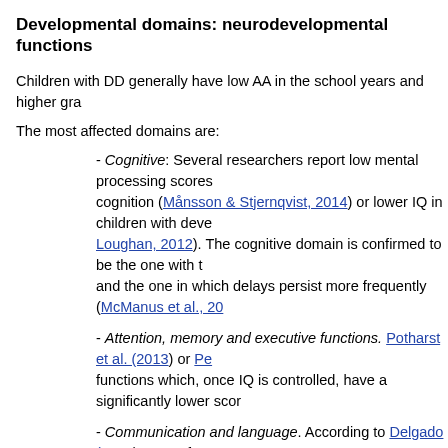Developmental domains: neurodevelopmental functions
Children with DD generally have low AA in the school years and higher gra...
The most affected domains are:
- Cognitive: Several researchers report low mental processing scores... cognition (Månsson & Stjernqvist, 2014) or lower IQ in children with deve... Loughan, 2012). The cognitive domain is confirmed to be the one with t... and the one in which delays persist more frequently (McManus et al., 20...
- Attention, memory and executive functions. Potharst et al. (2013) or Pe... functions which, once IQ is controlled, have a significantly lower scor...
- Communication and language. According to Delgado (2009), 66% of p... fourth grade had some disability and, in 77% of cases, this involved p... vein, De los Reyes-Aragón et al. (2016) also note delay in communication,... and Winter (2013)) report adverse effects on linguistic development, Ker... communication and Månsson and Stjernqvist (2014)) significantly lower sc...
- Motor, visuospatial and visual-motor skills. Several investigations re... 2016; McManus et al., 2016) or more specifically, in the fine motor domain... gross (Hsu et al., 2013; Takeuchi et al., 2016), in both (Månsson y Stjernqvist,... 2013).
- Psychosocial and behavioural functioning. Kerstjens et al. (2011) find h... in personal and social functioning; Nelson et al. (2016), behavioural diff...